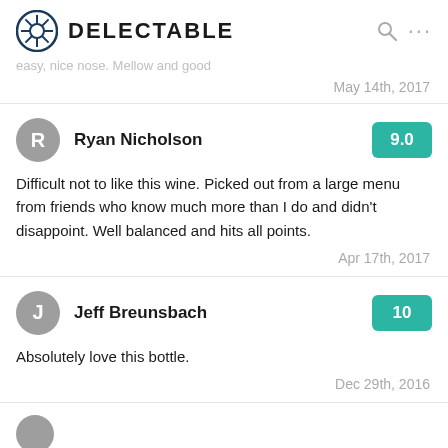DELECTABLE
easy, nice nose. Mellow and good
May 14th, 2017
Ryan Nicholson — score: 9.0
Difficult not to like this wine. Picked out from a large menu from friends who know much more than I do and didn't disappoint. Well balanced and hits all points.
Apr 17th, 2017
Jeff Breunsbach — score: 10
Absolutely love this bottle.
Dec 29th, 2016